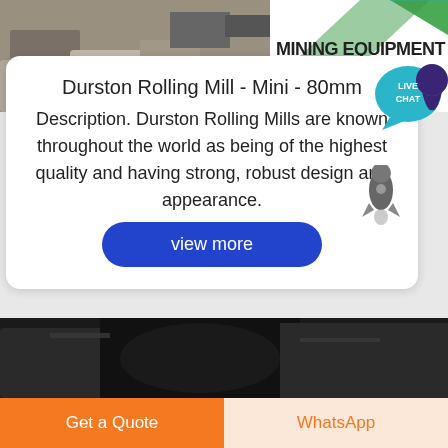[Figure (photo): Top banner image showing mining/construction equipment and rubble. Right side has 'MINING EQUIPMENT ACRUSHER' text with green diagonal stripes logo.]
Durston Rolling Mill - Mini - 80mm
Description. Durston Rolling Mills are known throughout the world as being of the highest quality and having strong, robust design and appearance.
[Figure (illustration): Live Chat speech bubble icon with teal/dark blue color and text LIVE CHAT inside]
[Figure (illustration): Grey rocket ship icon]
[Figure (other): 'view more' blue rounded button]
[Figure (photo): Bottom partial image showing dark industrial machinery]
Get a Quote
WhatsApp